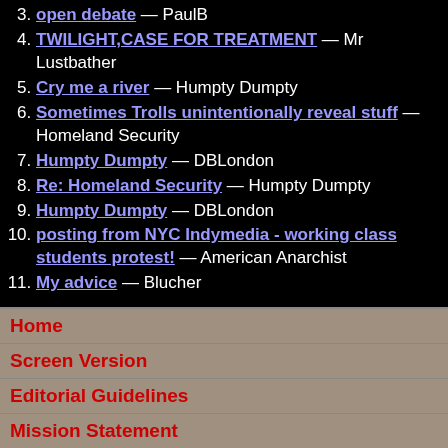3. open debate — PaulB
4. TWILIGHT,CASE FOR TREATMENT — Mr Lustbather
5. Cry me a river — Humpty Dumpty
6. Sometimes Trolls unintentionally reveal stuff — Homeland Security
7. Humpty Dumpty — DBLondon
8. Re: Homeland Security — Humpty Dumpty
9. Humpty Dumpty — DBLondon
10. posting from NYC Indymedia - working class students protest! — American Anarchist
11. My advice — Blucher
Home
Screen Version
Editorial Guidelines
Mission Statement
About
Contact
Help
Security
Support Us